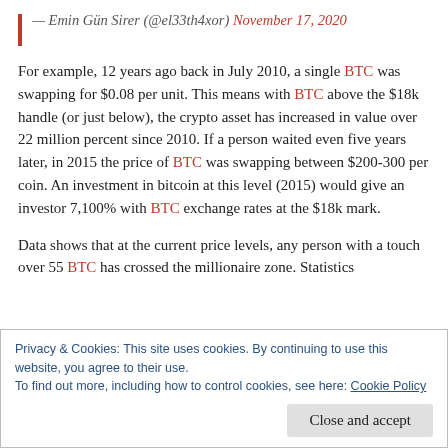— Emin Gün Sirer (@el33th4xor) November 17, 2020
For example, 12 years ago back in July 2010, a single BTC was swapping for $0.08 per unit. This means with BTC above the $18k handle (or just below), the crypto asset has increased in value over 22 million percent since 2010. If a person waited even five years later, in 2015 the price of BTC was swapping between $200-300 per coin. An investment in bitcoin at this level (2015) would give an investor 7,100% with BTC exchange rates at the $18k mark.
Data shows that at the current price levels, any person with a touch over 55 BTC has crossed the millionaire zone. Statistics
Privacy & Cookies: This site uses cookies. By continuing to use this website, you agree to their use.
To find out more, including how to control cookies, see here: Cookie Policy